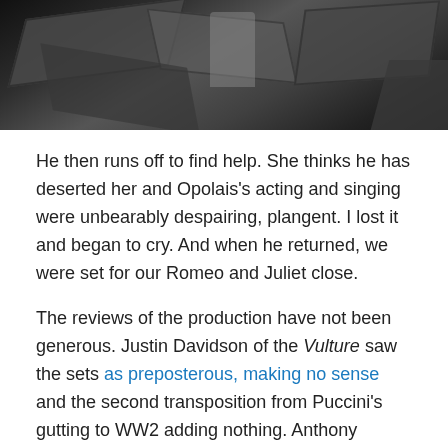[Figure (photo): Dark theatrical stage photo with large geometric shapes and a figure, black and grey tones]
He then runs off to find help. She thinks he has deserted her and Opolais's acting and singing were unbearably despairing, plangent. I lost it and began to cry. And when he returned, we were set for our Romeo and Juliet close.
The reviews of the production have not been generous. Justin Davidson of the Vulture saw the sets as preposterous, making no sense and the second transposition from Puccini's gutting to WW2 adding nothing. Anthony Tomassini of the New York Times came closer when he suggested the production was trying for a a noir twist. To be fair to Puccini, I found the Met HD Massenet Manon similarly misconceived. Both critics, though, made the same point that my daughter, Izzy, dwelt